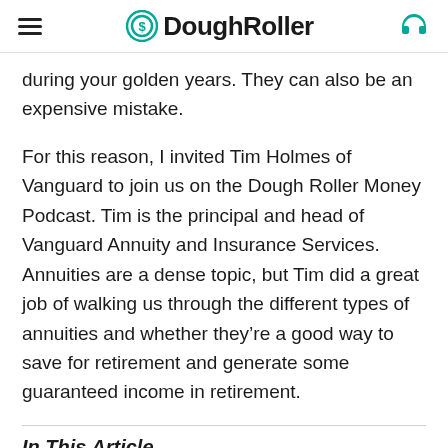DoughRoller
during your golden years. They can also be an expensive mistake.
For this reason, I invited Tim Holmes of Vanguard to join us on the Dough Roller Money Podcast. Tim is the principal and head of Vanguard Annuity and Insurance Services. Annuities are a dense topic, but Tim did a great job of walking us through the different types of annuities and whether they’re a good way to save for retirement and generate some guaranteed income in retirement.
In This Article